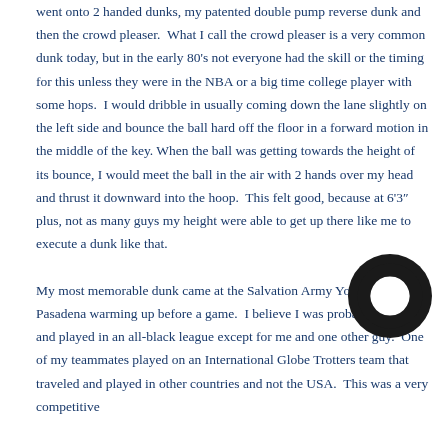went onto 2 handed dunks, my patented double pump reverse dunk and then the crowd pleaser. What I call the crowd pleaser is a very common dunk today, but in the early 80's not everyone had the skill or the timing for this unless they were in the NBA or a big time college player with some hops. I would dribble in usually coming down the lane slightly on the left side and bounce the ball hard off the floor in a forward motion in the middle of the key. When the ball was getting towards the height of its bounce, I would meet the ball in the air with 2 hands over my head and thrust it downward into the hoop. This felt good, because at 6'3" plus, not as many guys my height were able to get up there like me to execute a dunk like that.

My most memorable dunk came at the Salvation Army Youth Center in Pasadena warming up before a game. I believe I was probably 26 or 27 and played in an all - black league except for me and one other guy. One of my teammates played on an International Globe Trotters team that traveled and played in other countries and not the USA. This was a very competitive
[Figure (logo): Black circular logo/icon in the bottom right area of the page]